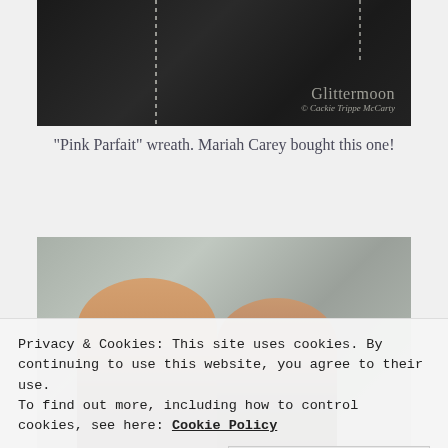[Figure (photo): A dark-background photo showing a decorative wreath with rhinestone/crystal strands hanging against a black textured background. The Glittermoon watermark with copyright 'Cackie Trippe McCarty' is in the lower right corner.]
"Pink Parfait" wreath. Mariah Carey bought this one!
[Figure (photo): A photo of two people posing together in front of a gray stone/tile wall. A man with glasses is on the left and another person is on the right, both smiling.]
Privacy & Cookies: This site uses cookies. By continuing to use this website, you agree to their use.
To find out more, including how to control cookies, see here: Cookie Policy
Close and accept